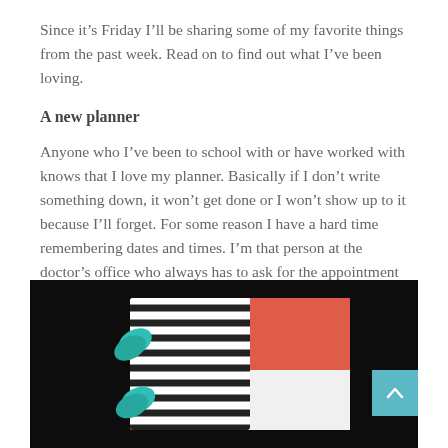Since it’s Friday I’ll be sharing some of my favorite things from the past week. Read on to find out what I’ve been loving.
A new planner
Anyone who I’ve been to school with or have worked with knows that I love my planner. Basically if I don’t write something down, it won’t get done or I won’t show up to it because I’ll forget. For some reason I have a hard time remembering dates and times. I’m that person at the doctor’s office who always has to ask for the appointment reminder cards.
[Figure (photo): A dark background with a planner/notebook showing a black and white striped cover with a coral/red band, and teal/green clips or tabs visible on the side.]